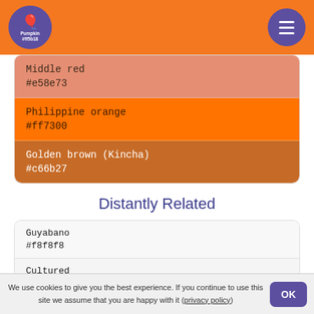Pumpkin #ff5b18
Middle red
#e58e73
Philippine orange
#ff7300
Golden brown (Kincha)
#c66b27
Distantly Related
Guyabano
#f8f8f8
Cultured
#f5f5f5
Gainsboro
We use cookies to give you the best experience. If you continue to use this site we assume that you are happy with it (privacy policy)